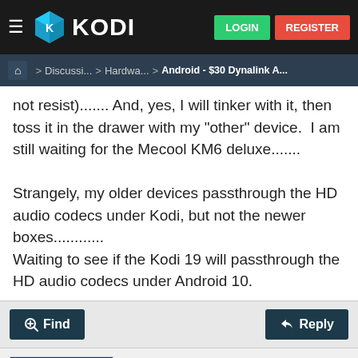[Figure (screenshot): Kodi forum website navigation bar with hamburger menu, Kodi logo, LOGIN and REGISTER buttons]
Home > Discussi... > Hardwa... > Android - $30 Dynalink A...
not resist)....... And, yes, I will tinker with it, then toss it in the drawer with my "other" device.  I am still waiting for the Mecool KM6 deluxe.......
Strangely, my older devices passthrough the HD audio codecs under Kodi, but not the newer boxes............
Waiting to see if the Kodi 19 will passthrough the HD audio codecs under Android 10.
Find   Reply
hdmkv
Posting Freak
Posts: 4,945
2020-11-15, 21:17   #3